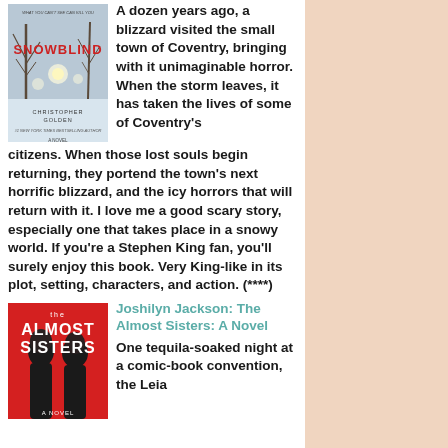[Figure (illustration): Book cover of Snowblind: A Novel by Christopher Golden. Winter/snowy scene with bare trees and red title text on a gray-blue background.]
A dozen years ago, a blizzard visited the small town of Coventry, bringing with it unimaginable horror. When the storm leaves, it has taken the lives of some of Coventry's citizens. When those lost souls begin returning, they portend the town's next horrific blizzard, and the icy horrors that will return with it. I love me a good scary story, especially one that takes place in a snowy world. If you're a Stephen King fan, you'll surely enjoy this book. Very King-like in its plot, setting, characters, and action. (****)
[Figure (illustration): Book cover of Almost Sisters: A Novel. Red background with two women's silhouettes from behind with dark hair.]
Joshilyn Jackson: The Almost Sisters: A Novel
One tequila-soaked night at a comic-book convention, the Leia